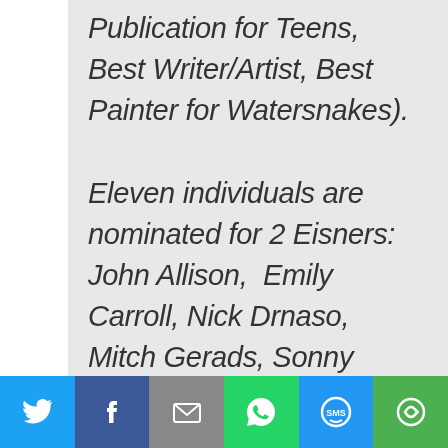Publication for Teens, Best Writer/Artist, Best Painter for Watersnakes). Eleven individuals are nominated for 2 Eisners: John Allison, Emily Carroll, Nick Drnaso, Mitch Gerads, Sonny Liew, Carolyn Nowak, Sean Phillips, Nate ...
[Figure (infographic): Social sharing bar with buttons: Twitter (blue bird), Facebook (dark blue f), Email (gray envelope), WhatsApp (green phone), SMS (blue SMS icon), More (green circular arrows)]